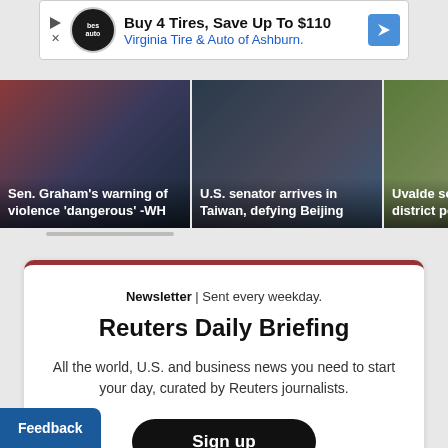[Figure (screenshot): Advertisement banner: Buy 4 Tires, Save Up To $110 - Virginia Tire & Auto of Ashburn.]
[Figure (photo): News thumbnail: Sen. Graham's warning of violence 'dangerous' -WH]
[Figure (photo): News thumbnail: U.S. senator arrives in Taiwan, defying Beijing]
[Figure (photo): News thumbnail: Uvalde school board fires district police chief]
Newsletter | Sent every weekday.
Reuters Daily Briefing
All the world, U.S. and business news you need to start your day, curated by Reuters journalists.
Sign up
Feedback